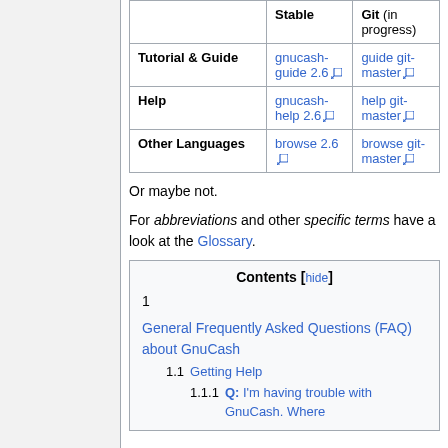|  | Stable | Git (in progress) |
| --- | --- | --- |
| Tutorial & Guide | gnucash-guide 2.6 [ext] | guide git-master [ext] |
| Help | gnucash-help 2.6 [ext] | help git-master [ext] |
| Other Languages | browse 2.6 [ext] | browse git-master [ext] |
Or maybe not.
For abbreviations and other specific terms have a look at the Glossary.
Contents [hide]
1 General Frequently Asked Questions (FAQ) about GnuCash
  1.1 Getting Help
    1.1.1 Q: I'm having trouble with GnuCash. Where...